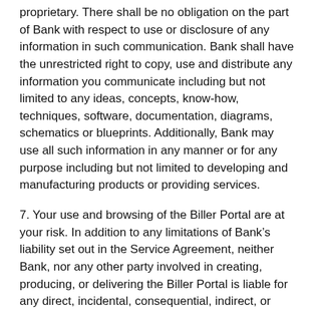proprietary. There shall be no obligation on the part of Bank with respect to use or disclosure of any information in such communication. Bank shall have the unrestricted right to copy, use and distribute any information you communicate including but not limited to any ideas, concepts, know-how, techniques, software, documentation, diagrams, schematics or blueprints. Additionally, Bank may use all such information in any manner or for any purpose including but not limited to developing and manufacturing products or providing services.
7. Your use and browsing of the Biller Portal are at your risk. In addition to any limitations of Bank’s liability set out in the Service Agreement, neither Bank, nor any other party involved in creating, producing, or delivering the Biller Portal is liable for any direct, incidental, consequential, indirect, or punitive damages arising out of your access to, or use of, the Biller Portal. Without limiting the foregoing, everything on the Biller Portal is provided to you “AS